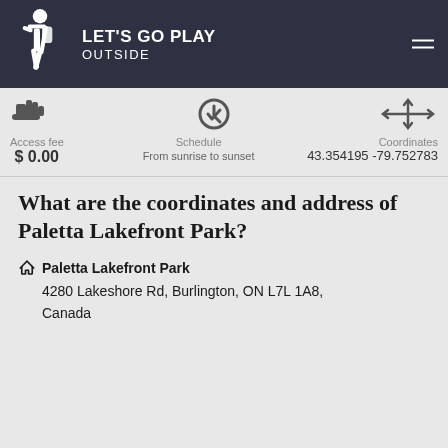LET'S GO PLAY OUTSIDE
Access fee $0.00 | Schedule From sunrise to sunset | Coordinates 43.354195 -79.752783
What are the coordinates and address of Paletta Lakefront Park?
Paletta Lakefront Park
4280 Lakeshore Rd, Burlington, ON L7L 1A8, Canada